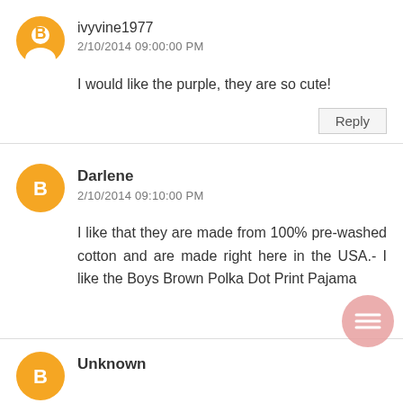ivyvine1977
2/10/2014 09:00:00 PM
I would like the purple, they are so cute!
Reply
Darlene
2/10/2014 09:10:00 PM
I like that they are made from 100% pre-washed cotton and are made right here in the USA.- I like the Boys Brown Polka Dot Print Pajama
Unknown